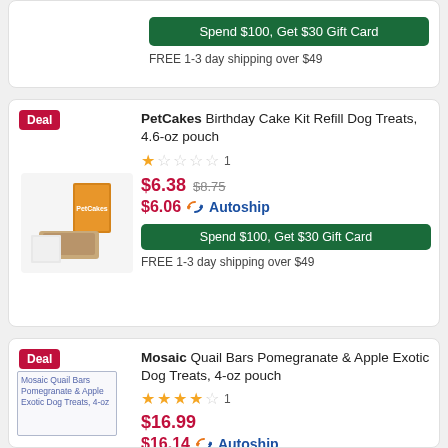bag
Spend $100, Get $30 Gift Card
FREE 1-3 day shipping over $49
Deal
PetCakes Birthday Cake Kit Refill Dog Treats, 4.6-oz pouch
1 review, 1 star
$6.38 (was $8.75)
$6.06 Autoship
Spend $100, Get $30 Gift Card
FREE 1-3 day shipping over $49
Deal
Mosaic Quail Bars Pomegranate & Apple Exotic Dog Treats, 4-oz pouch
1 review, 4.5 stars
$16.99
$16.14 Autoship